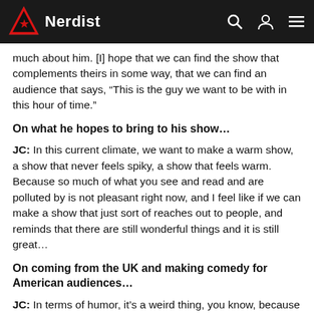Nerdist
much about him. [I] hope that we can find the show that complements theirs in some way, that we can find an audience that says, “This is the guy we want to be with in this hour of time.”
On what he hopes to bring to his show…
JC: In this current climate, we want to make a warm show, a show that never feels spiky, a show that feels warm. Because so much of what you see and read and are polluted by is not pleasant right now, and I feel like if we can make a show that just sort of reaches out to people, and reminds that there are still wonderful things and it is still great…
On coming from the UK and making comedy for American audiences…
JC: In terms of humor, it’s a weird thing, you know, because coming from Britain, all the time people say in Britain, if you’re making a movie, if you’re making a TV show, people say, “Oh, I wonder if this will work in America.” But no one in America is ever going, “I wonder if this will work in the United